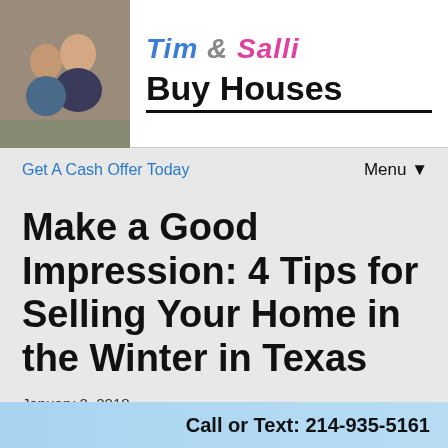[Figure (photo): Logo banner with photo of a man and woman (Tim & Salli) on the left, and the text 'Tim & Salli Buy Houses' on the right with a bold sans-serif font.]
Get A Cash Offer Today    Menu ▼
Make a Good Impression: 4 Tips for Selling Your Home in the Winter in Texas
January 2, 2018
By tkosen
Are you selling a house? If you're selling in the winter, you'll
Call or Text: 214-935-5161